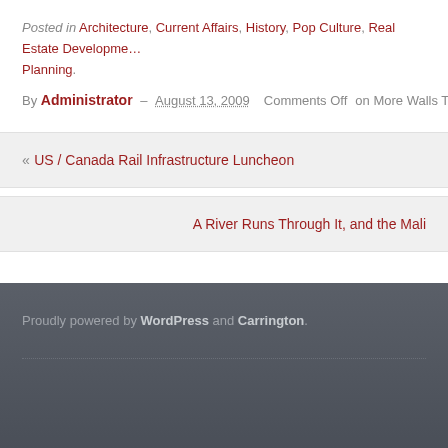Posted in Architecture, Current Affairs, History, Pop Culture, Real Estate Development, Planning.
By Administrator – August 13, 2009   Comments Off on More Walls Talking
« US / Canada Rail Infrastructure Luncheon
A River Runs Through It, and the Mali
Proudly powered by WordPress and Carrington.